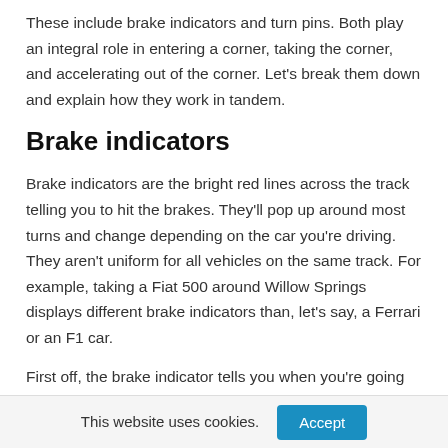These include brake indicators and turn pins. Both play an integral role in entering a corner, taking the corner, and accelerating out of the corner. Let's break them down and explain how they work in tandem.
Brake indicators
Brake indicators are the bright red lines across the track telling you to hit the brakes. They'll pop up around most turns and change depending on the car you're driving. They aren't uniform for all vehicles on the same track. For example, taking a Fiat 500 around Willow Springs displays different brake indicators than, let's say, a Ferrari or an F1 car.
First off, the brake indicator tells you when you're going too
This website uses cookies.
Accept